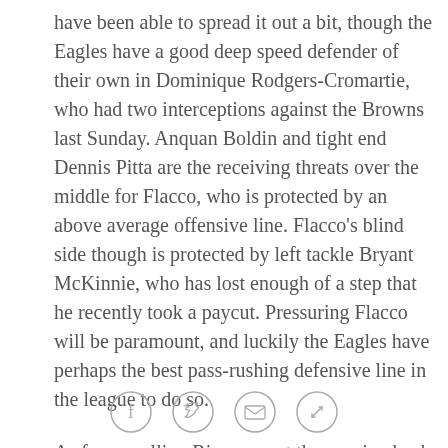have been able to spread it out a bit, though the Eagles have a good deep speed defender of their own in Dominique Rodgers-Cromartie, who had two interceptions against the Browns last Sunday. Anquan Boldin and tight end Dennis Pitta are the receiving threats over the middle for Flacco, who is protected by an above average offensive line. Flacco's blind side though is protected by left tackle Bryant McKinnie, who has lost enough of a step that he recently took a paycut. Pressuring Flacco will be paramount, and luckily the Eagles have perhaps the best pass-rushing defensive line in the league to do so.
As for corralling Rice, expect the running back to get more work than he got against the Bengals. Blessed with a lead throughout, the Ravens only called Rice's number in the run game 10 times (which Rice took for...
[Figure (other): Social sharing icons: Facebook, Twitter, Email, Link]